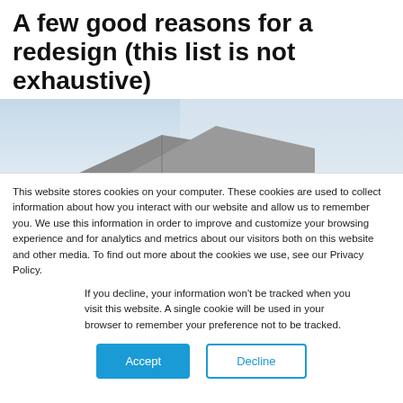A few good reasons for a redesign (this list is not exhaustive)
[Figure (photo): Partial view of a building or house rooftop against a light blue sky, with grey sky gradient on the right portion.]
This website stores cookies on your computer. These cookies are used to collect information about how you interact with our website and allow us to remember you. We use this information in order to improve and customize your browsing experience and for analytics and metrics about our visitors both on this website and other media. To find out more about the cookies we use, see our Privacy Policy.
If you decline, your information won't be tracked when you visit this website. A single cookie will be used in your browser to remember your preference not to be tracked.